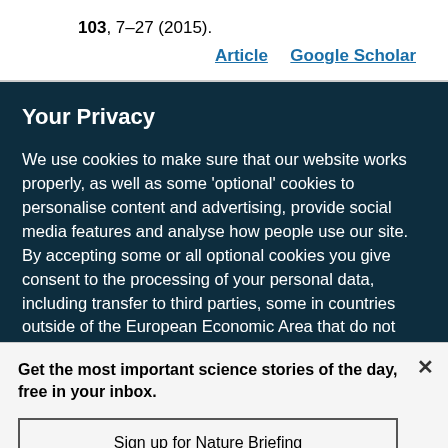103, 7–27 (2015).
Article   Google Scholar
Your Privacy
We use cookies to make sure that our website works properly, as well as some 'optional' cookies to personalise content and advertising, provide social media features and analyse how people use our site. By accepting some or all optional cookies you give consent to the processing of your personal data, including transfer to third parties, some in countries outside of the European Economic Area that do not offer the same data protection standards as the country where you live. You can decide which optional cookies to accept by clicking on 'Manage Settings', where you can
Get the most important science stories of the day, free in your inbox.
Sign up for Nature Briefing